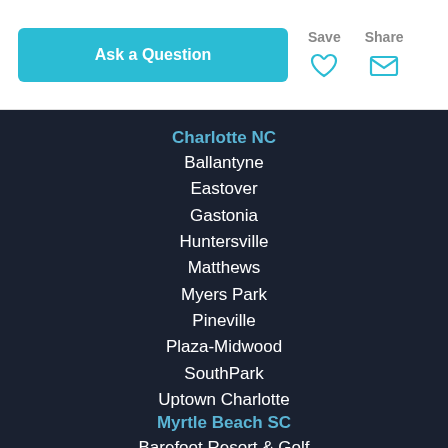[Figure (other): Ask a Question button (teal/cyan rounded rectangle with white bold text)]
[Figure (other): Save icon (heart outline) with gray label 'Save' above]
[Figure (other): Share icon (envelope outline) with gray label 'Share' above]
Charlotte NC
Ballantyne
Eastover
Gastonia
Huntersville
Matthews
Myers Park
Pineville
Plaza-Midwood
SouthPark
Uptown Charlotte
Myrtle Beach SC
Barefoot Resort & Golf